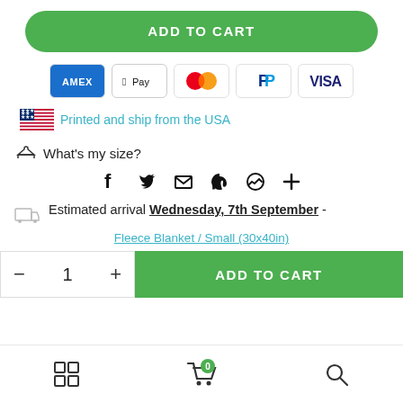[Figure (screenshot): E-commerce product page section showing Add to Cart button, payment method icons (Amex, Apple Pay, Mastercard, PayPal, Visa), US flag shipping notice, size guide link, social sharing icons, estimated arrival with date Wednesday 7th September, product link Fleece Blanket / Small (30x40in), quantity selector and second Add to Cart button, and bottom navigation bar with grid, cart, and search icons.]